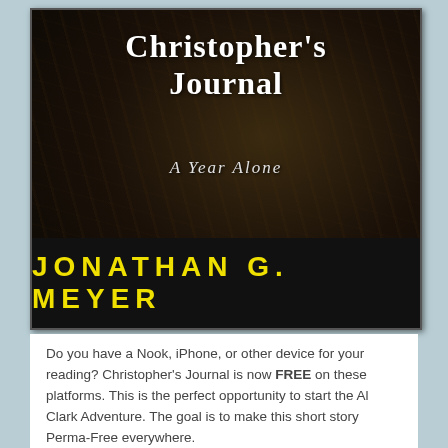[Figure (illustration): Book cover for 'Christopher's Journal: A Year Alone' by Jonathan G. Meyer. Dark cave/rocky background with white serif title text and yellow uppercase author name at the bottom on a black band.]
Do you have a Nook, iPhone, or other device for your reading? Christopher's Journal is now FREE on these platforms. This is the perfect opportunity to start the Al Clark Adventure. The goal is to make this short story Perma-Free everywhere.
To assist in my promotions you could provide the first review and win a FREE Audible code for Al Clark (Book One)